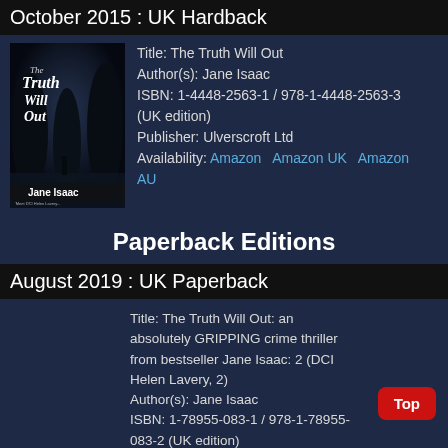October 2015 : UK Hardback
[Figure (photo): Book cover of 'The Truth Will Out' by Jane Isaac, dark atmospheric cover with silhouette figure]
Title: The Truth Will Out
Author(s): Jane Isaac
ISBN: 1-4448-2563-1 / 978-1-4448-2563-3 (UK edition)
Publisher: Ulverscroft Ltd
Availability: Amazon   Amazon UK   Amazon AU
Paperback Editions
August 2019 : UK Paperback
Title: The Truth Will Out: an absolutely GRIPPING crime thriller from bestseller Jane Isaac: 2 (DCI Helen Lavery, 2)
Author(s): Jane Isaac
ISBN: 1-78955-083-1 / 978-1-78955-083-2 (UK edition)